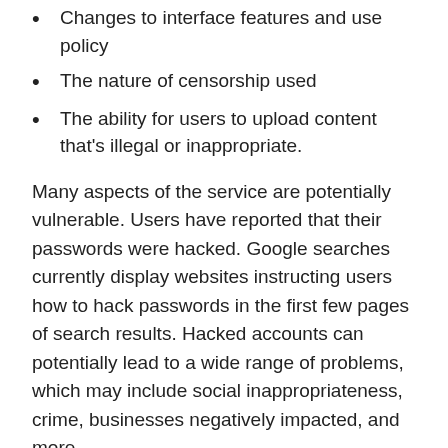Changes to interface features and use policy
The nature of censorship used
The ability for users to upload content that's illegal or inappropriate.
Many aspects of the service are potentially vulnerable. Users have reported that their passwords were hacked. Google searches currently display websites instructing users how to hack passwords in the first few pages of search results. Hacked accounts can potentially lead to a wide range of problems, which may include social inappropriateness, crime, businesses negatively impacted, and more.
What Examples Are There Of Recent Account Hack Risks?